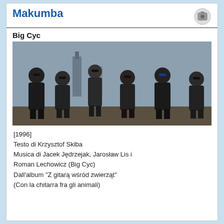Makumba
Big Cyc
[Figure (photo): Group photo of six members of the Polish band Big Cyc, posing outdoors on a rooftop with a city skyline behind them. Members are wearing dark clothing including band t-shirts (one with Jimi Hendrix). They are wearing sunglasses and making various poses.]
[1996]
Testo di Krzysztof Skiba
Musica di Jacek Jędrzejak, Jarosław Lis i Roman Lechowicz (Big Cyc)
Dall'album "Z gitarą wśród zwierząt"
(Con la chitarra fra gli animali)